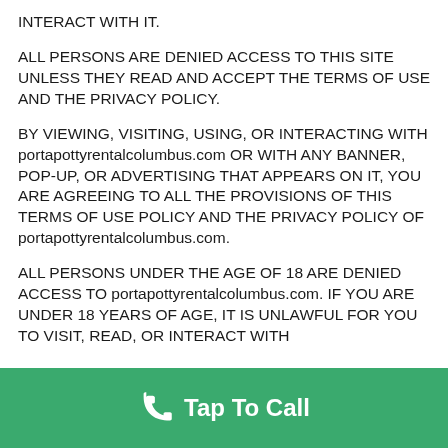INTERACT WITH IT.
ALL PERSONS ARE DENIED ACCESS TO THIS SITE UNLESS THEY READ AND ACCEPT THE TERMS OF USE AND THE PRIVACY POLICY.
BY VIEWING, VISITING, USING, OR INTERACTING WITH portapottyrentalcolumbus.com OR WITH ANY BANNER, POP-UP, OR ADVERTISING THAT APPEARS ON IT, YOU ARE AGREEING TO ALL THE PROVISIONS OF THIS TERMS OF USE POLICY AND THE PRIVACY POLICY OF portapottyrentalcolumbus.com.
ALL PERSONS UNDER THE AGE OF 18 ARE DENIED ACCESS TO portapottyrentalcolumbus.com. IF YOU ARE UNDER 18 YEARS OF AGE, IT IS UNLAWFUL FOR YOU TO VISIT, READ, OR INTERACT WITH
[Figure (infographic): Green call-to-action bar with phone icon and text 'Tap To Call']